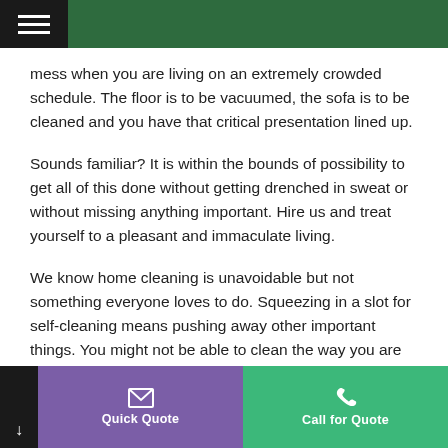mess when you are living on an extremely crowded schedule. The floor is to be vacuumed, the sofa is to be cleaned and you have that critical presentation lined up.
Sounds familiar? It is within the bounds of possibility to get all of this done without getting drenched in sweat or without missing anything important. Hire us and treat yourself to a pleasant and immaculate living.
We know home cleaning is unavoidable but not something everyone loves to do. Squeezing in a slot for self-cleaning means pushing away other important things. You might not be able to clean the way you are supposed to.
Quick Quote | Call for Quote